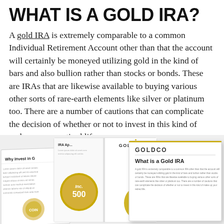WHAT IS A GOLD IRA?
A gold IRA is extremely comparable to a common Individual Retirement Account other than that the account will certainly be moneyed utilizing gold in the kind of bars and also bullion rather than stocks or bonds. These are IRAs that are likewise available to buying various other sorts of rare-earth elements like silver or platinum too. There are a number of cautions that can complicate the decision of whether or not to invest in this kind of make up your retired life.
[Figure (photo): Three Goldco branded brochures/booklets displayed in a fan arrangement. The left brochure shows 'Why Invest in G...' text. The middle open brochure shows an Inc. 500 gold medal badge and a gold figurine, with 'IRA Ap...' text. The right brochure prominently shows 'GOLDCO' logo in bold and heading 'What is a Gold IRA' with small body text below.]